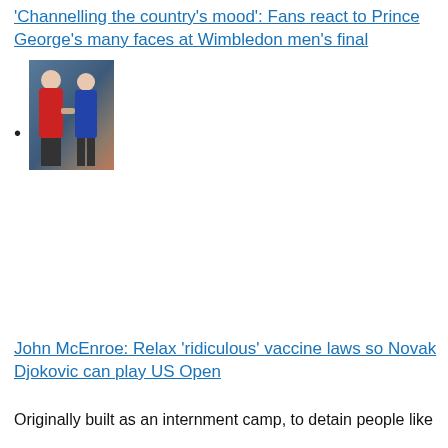‘Channelling the country’s mood’: Fans react to Prince George’s many faces at Wimbledon men’s final
[Figure (photo): Photo of two men, one in red and one in blue, likely John McEnroe and Novak Djokovic at a tennis event]
John McEnroe: Relax ‘ridiculous’ vaccine laws so Novak Djokovic can play US Open
Originally built as an internment camp, to detain people like